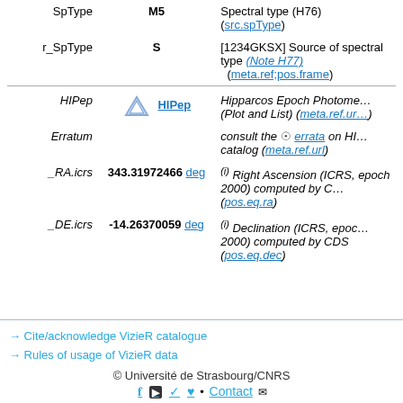| Name | Value | Description |
| --- | --- | --- |
| SpType | M5 | Spectral type (H76) (src.spType) |
| r_SpType | S | [1234GKSX] Source of spectral type (Note H77) (meta.ref;pos.frame) |
| HIPep | [icon] HIPep | Hipparcos Epoch Photometry (Plot and List) (meta.ref.url) |
| Erratum |  | consult the [eye] errata on HIPep catalog (meta.ref.url) |
| _RA.icrs | 343.31972466 deg | (i) Right Ascension (ICRS, epoch 2000) computed by CDS (pos.eq.ra) |
| _DE.icrs | -14.26370059 deg | (i) Declination (ICRS, epoch 2000) computed by CDS (pos.eq.dec) |
→ Cite/acknowledge VizieR catalogue
→ Rules of usage of VizieR data
© Université de Strasbourg/CNRS · Contact